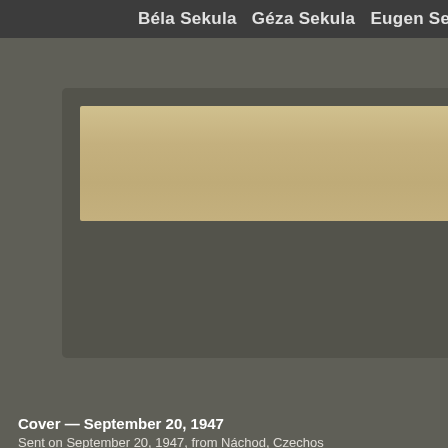Béla Sekula   Géza Sekula   Eugen Se
[Figure (photo): Partial view of an aged envelope or paper document with a brownish-tan color showing wear, set against a dark gray framed card background.]
Cover — September 20, 1947
Sent on September 20, 1947, from Náchod, Czechos
[Figure (photo): An aged yellowish-tan paper document showing typewritten text 'Tit.' in the upper portion, set against a dark gray framed card background.]